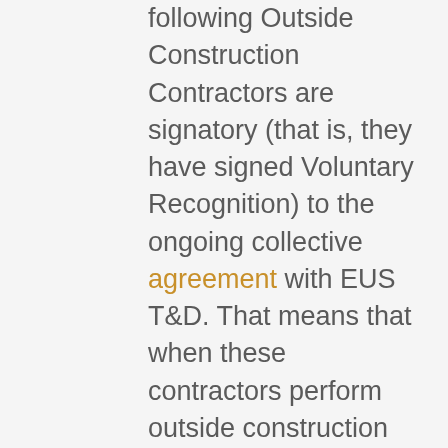following Outside Construction Contractors are signatory (that is, they have signed Voluntary Recognition) to the ongoing collective agreement with EUS T&D. That means that when these contractors perform outside construction work in Local 1928's jurisdiction (Nova Scotia and PEI), they agree to abide by the terms and conditions of that agreement, including wages, dues, travel allowances, health and welfare and pension allocations, per diems, and the hiring provisions (which is 1:1 employer and Local 1928-supplied labour; if the union cannot supply the members through Local 1928's Referral List,